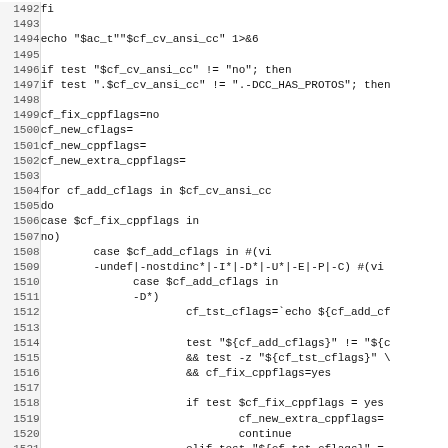Code listing lines 1492-1523, shell script source code